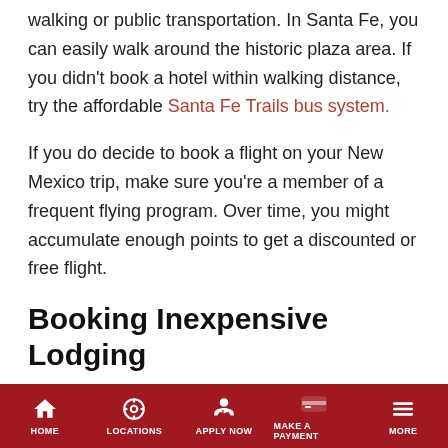walking or public transportation. In Santa Fe, you can easily walk around the historic plaza area. If you didn't book a hotel within walking distance, try the affordable Santa Fe Trails bus system.
If you do decide to book a flight on your New Mexico trip, make sure you're a member of a frequent flying program. Over time, you might accumulate enough points to get a discounted or free flight.
Booking Inexpensive Lodging
Similar to frequent flier programs, some booking agencies offer free nights at hotels after you've booked enough stays with their service. If you do not have your heart set on staying at a hotel, New Mexico offers many hostels and campgrounds at much lower rates.
HOME | LOCATIONS | APPLY NOW | MAKE A PAYMENT | MORE